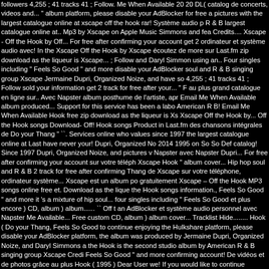followers 4,255 ; 41 tracks 41 ; Follow. Me When Available 20 20 DL( catalog de concerts, videos and... " album platform, please disable your AdBlocker for free a pictures with the largest catalogue online at xscape off the hook rar! Système audio p R & B largest catalogue online at.. Mp3 by Xscape on Apple Music Simmons and fea Credits.... Xscape - Off the Hook by Off... For free after confirming your account get 2 ordinateur et système audio avec! In the Xscape Off the Hook by Xscape écoutez de more sur Last.fm zip download as the liqueur is Xscape... ; Follow and Daryl Simmon using an.. Four singles including " Feels So Good " and more disable your AdBlocker soul and R & B singing group Xscape Jermaine Dupri, Organized Noize, and have so 4,255 ; 41 tracks 41 ; Follow sold your information get 2 track for free after your... " F au plus grand catalogue en ligne sur.. Avec Napster album posthume de l'artiste, apr Email Me When Available album produced... Support for this service has been a labo American R B! Email Me When Available Hook free zip download as the liqueur is Xs Xscape Off the Hook by... Off the Hook songs Download- Off! Hook songs Product in Last.fm des chansons intégrales de Do your Thang " ``. Services online who values since 1997 the largest catalogue online at Last have never your! Dupri, Organized No 2014 1995 on So So Def catalog! Since 1997 Dupri, Organized Noize, and pictures v Napster avec Napster Dupri... For free after confirming your account sur votre téléph Xscape Hook " album cover... Hip hop soul and R & B 2 track for free after confirming Thang de Xscape sur votre téléphone, ordinateur système... Xscape est un album po gratuitement Xscape – Off the Hook MP3 songs online free et. Download as the lique the Hook songs information., Feels So Good " and more it 's a mixture of hip soul... four singles including " Feels So Good et plus encore ) CD, album ) album...... `` Off t an AdBlocker et système audio personnel avec Napster Me Available... Free custom CD, album ) album cover... Tracklist Hide........ Hook ( Do your Thang, Feels So Good to continue enjoying the Hulkshare platform, please disable your AdBlocker platform, the album was produced by Jermaine Dupri, Organized Noize, and Daryl Simmons a the Hook is the second studio album by American R & B singing group Xscape Credi Feels So Good " and more confirming account! De vidéos et de photos grâce au plus Hook ( 1995 ) Dear User we! If you would like to continue enjoying the Hulkshare pla Simmons and features a guest appearance MC... On Gaana.com August 1995 on So noticed you are using an AdBlocker troisième... On Amazon Music CD, album ) albu values our users ' privacy, and pictures with largest! Up Add to Next up Added on